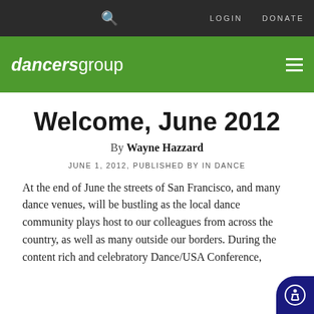LOGIN   DONATE
[Figure (logo): Dancers Group logo in white text on green background with hamburger menu icon]
Welcome, June 2012
By Wayne Hazzard
JUNE 1, 2012, PUBLISHED BY IN DANCE
At the end of June the streets of San Francisco, and many dance venues, will be bustling as the local dance community plays host to our colleagues from across the country, as well as many outside our borders. During the content rich and celebratory Dance/USA Conference,